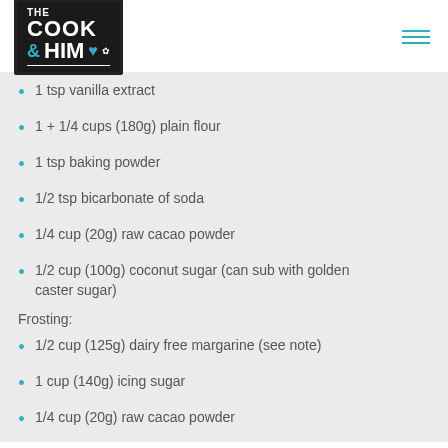THE COOK & HIM
1 tsp vanilla extract
1 + 1/4 cups (180g) plain flour
1 tsp baking powder
1/2 tsp bicarbonate of soda
1/4 cup (20g) raw cacao powder
1/2 cup (100g) coconut sugar (can sub with golden caster sugar)
Frosting:
1/2 cup (125g) dairy free margarine (see note)
1 cup (140g) icing sugar
1/4 cup (20g) raw cacao powder